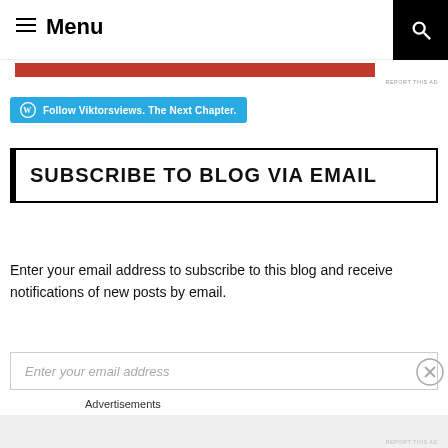Menu
[Figure (screenshot): Red advertisement banner partially visible at top]
REPORT THIS AD
[Figure (screenshot): WordPress Follow button - Follow Viktorsviews. The Next Chapter.]
SUBSCRIBE TO BLOG VIA EMAIL
Enter your email address to subscribe to this blog and receive notifications of new posts by email.
[Figure (screenshot): Email input field with placeholder text: Enter your email address]
Advertisements
REPORT THIS AD